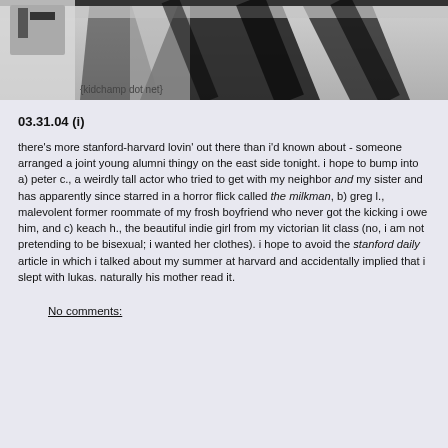[Figure (photo): Black and white photo showing underside of what appears to be an aircraft or vehicle with shadows and structural elements. Watermark text '{kidchamp dot net}' visible in lower left.]
03.31.04 (i)
there's more stanford-harvard lovin' out there than i'd known about - someone arranged a joint young alumni thingy on the east side tonight. i hope to bump into a) peter c., a weirdly tall actor who tried to get with my neighbor and my sister and has apparently since starred in a horror flick called the milkman, b) greg l., malevolent former roommate of my frosh boyfriend who never got the kicking i owe him, and c) keach h., the beautiful indie girl from my victorian lit class (no, i am not pretending to be bisexual; i wanted her clothes). i hope to avoid the stanford daily article in which i talked about my summer at harvard and accidentally implied that i slept with lukas. naturally his mother read it.
No comments: